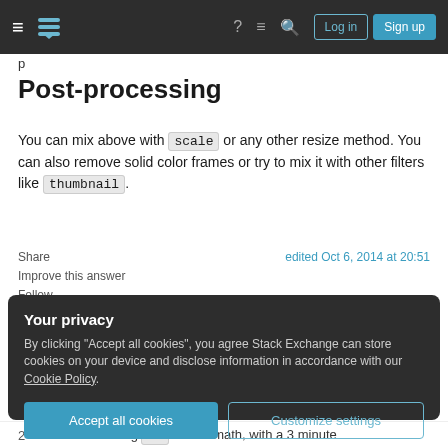Stack Exchange navigation bar with Log in and Sign up buttons
p
Post-processing
You can mix above with scale or any other resize method. You can also remove solid color frames or try to mix it with other filters like thumbnail.
Share
Improve this answer
Follow
edited Oct 6, 2014 at 20:51
Your privacy
By clicking "Accept all cookies", you agree Stack Exchange can store cookies on your device and disclose information in accordance with our Cookie Policy.
Accept all cookies  Customize settings
2  In bash and using bc for the math, with a 3 minute